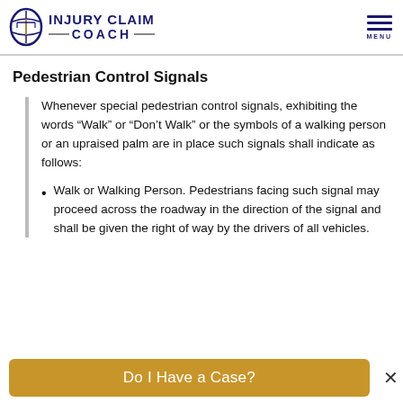INJURY CLAIM COACH
Pedestrian Control Signals
Whenever special pedestrian control signals, exhibiting the words “Walk” or “Don’t Walk” or the symbols of a walking person or an upraised palm are in place such signals shall indicate as follows:
Walk or Walking Person. Pedestrians facing such signal may proceed across the roadway in the direction of the signal and shall be given the right of way by the drivers of all vehicles.
Do I Have a Case?